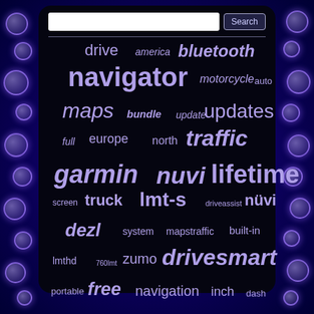[Figure (screenshot): Word cloud of GPS/navigation related search terms on a dark background with blue bubble border decoration. Terms include: drive, america, bluetooth, navigator, motorcycle, auto, maps, bundle, update, updates, full, europe, north, traffic, garmin, nuvi, lifetime, screen, truck, lmt-s, driveassist, nüvi, dezl, system, mapstraffic, built-in, lmthd, 760lmt, zumo, drivesmart, portable, free, navigation, inch, dash]